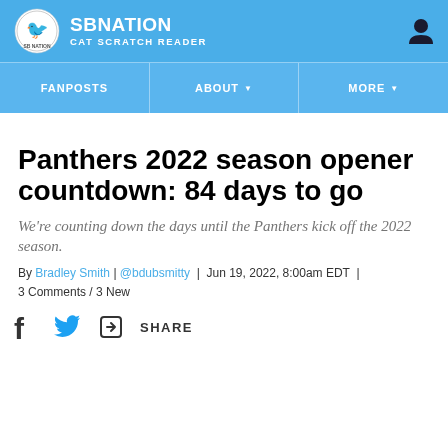SB NATION / CAT SCRATCH READER
FANPOSTS | ABOUT | MORE
Panthers 2022 season opener countdown: 84 days to go
We're counting down the days until the Panthers kick off the 2022 season.
By Bradley Smith | @bdubsmitty | Jun 19, 2022, 8:00am EDT | 3 Comments / 3 New
SHARE